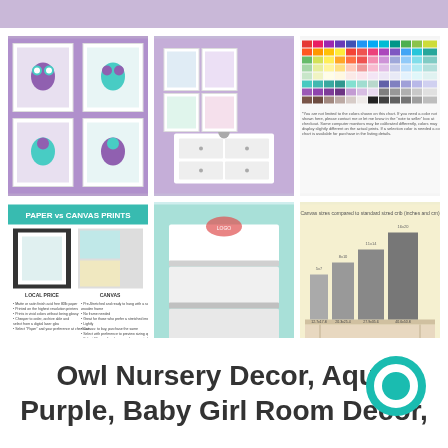[Figure (photo): Top purple/lavender bar across the page]
[Figure (illustration): Four framed owl art prints in aqua and purple on lavender background]
[Figure (photo): Room scene with dresser and four owl art prints on purple wall]
[Figure (illustration): Color chart showing many color swatches with text note about colors]
[Figure (infographic): Paper vs Canvas Prints comparison infographic with teal header]
[Figure (photo): Stacked white canvas prints on teal background with text: Canvases come in 0.75 and 1.5 depths]
[Figure (infographic): Canvas size comparison chart against standard sized crib in yellow/grey]
Owl Nursery Decor, Aqua Purple, Baby Girl Room Decor,